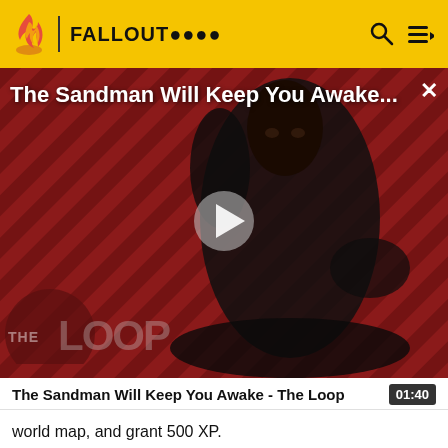FALLOUT Wiki
[Figure (screenshot): Video thumbnail for 'The Sandman Will Keep You Awake...' showing a dark-robed figure against a red and black diagonal striped background, with The Loop watermark at bottom left and a play button in center]
The Sandman Will Keep You Awake - The Loop  01:40
world map, and grant 500 XP.
Water flasks are less common in Fallout 2; with one being given to the Chosen One before they leave on their quest